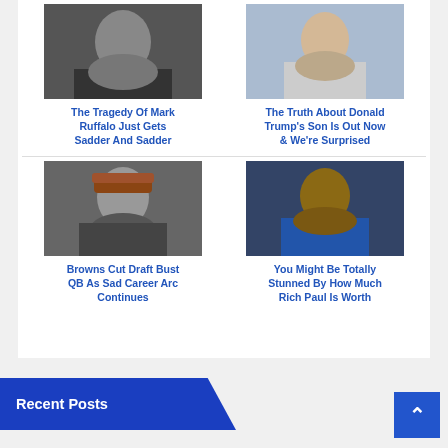[Figure (photo): Photo of Mark Ruffalo, middle-aged man with stubble]
The Tragedy Of Mark Ruffalo Just Gets Sadder And Sadder
[Figure (photo): Photo of a young boy, Donald Trump's son Barron]
The Truth About Donald Trump's Son Is Out Now & We're Surprised
[Figure (photo): Photo of a bearded man wearing a Cleveland Browns cap]
Browns Cut Draft Bust QB As Sad Career Arc Continues
[Figure (photo): Photo of Rich Paul, a Black man in a blue jacket]
You Might Be Totally Stunned By How Much Rich Paul Is Worth
Recent Posts